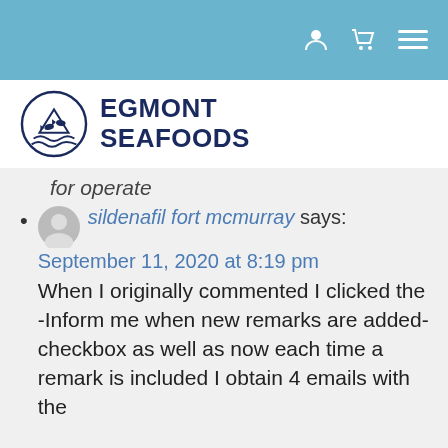[Figure (logo): Egmont Seafoods logo: circular emblem with fish and waves, beside bold text EGMONT SEAFOODS]
for operate
sildenafil fort mcmurray says: September 11, 2020 at 8:19 pm
When I originally commented I clicked the -Inform me when new remarks are added- checkbox as well as now each time a remark is included I obtain 4 emails with the
When I originally commented I clicked the -Inform me when new remarks are added- checkbox as well as now each time a remark is included I obtain 4 emails with the